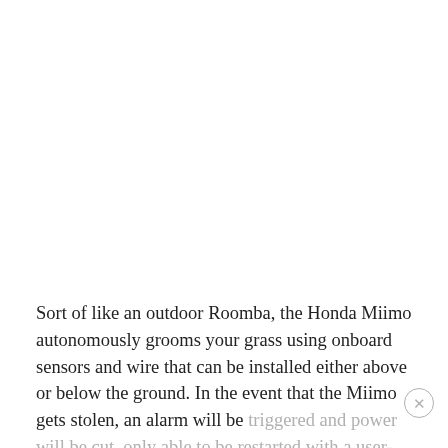Sort of like an outdoor Roomba, the Honda Miimo autonomously grooms your grass using onboard sensors and wire that can be installed either above or below the ground. In the event that the Miimo gets stolen, an alarm will be triggered and power will be cut, only able to be restarted with a user-specific passcode.